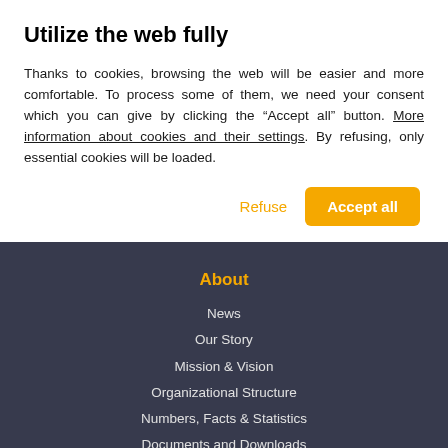Utilize the web fully
Thanks to cookies, browsing the web will be easier and more comfortable. To process some of them, we need your consent which you can give by clicking the “Accept all” button. More information about cookies and their settings. By refusing, only essential cookies will be loaded.
About
News
Our Story
Mission & Vision
Organizational Structure
Numbers, Facts & Statistics
Documents and Downloads
Job Opportunities
Contacts
Contacts for Admissions